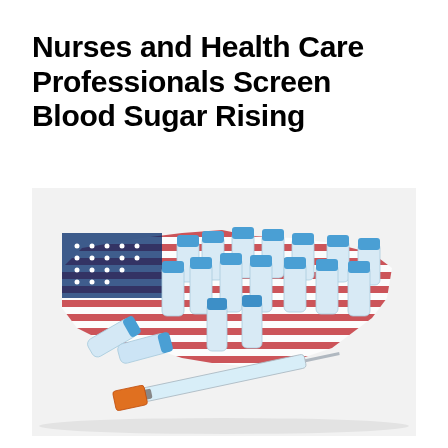Nurses and Health Care Professionals Screen Blood Sugar Rising
[Figure (photo): Multiple small glass medical vials with blue caps arranged on top of a US flag map outline, with a syringe and needle in the foreground, suggesting diabetes/insulin medication in the United States context.]